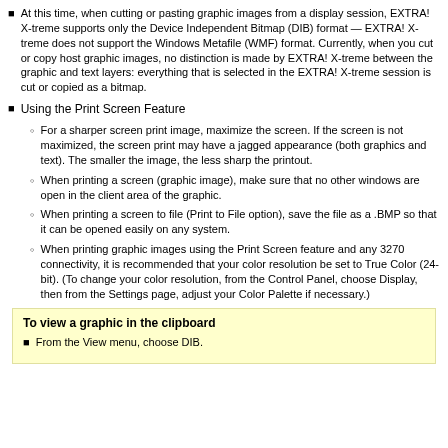At this time, when cutting or pasting graphic images from a display session, EXTRA! X-treme supports only the Device Independent Bitmap (DIB) format — EXTRA! X-treme does not support the Windows Metafile (WMF) format. Currently, when you cut or copy host graphic images, no distinction is made by EXTRA! X-treme between the graphic and text layers: everything that is selected in the EXTRA! X-treme session is cut or copied as a bitmap.
Using the Print Screen Feature
For a sharper screen print image, maximize the screen. If the screen is not maximized, the screen print may have a jagged appearance (both graphics and text). The smaller the image, the less sharp the printout.
When printing a screen (graphic image), make sure that no other windows are open in the client area of the graphic.
When printing a screen to file (Print to File option), save the file as a .BMP so that it can be opened easily on any system.
When printing graphic images using the Print Screen feature and any 3270 connectivity, it is recommended that your color resolution be set to True Color (24-bit). (To change your color resolution, from the Control Panel, choose Display, then from the Settings page, adjust your Color Palette if necessary.)
To view a graphic in the clipboard
From the View menu, choose DIB.